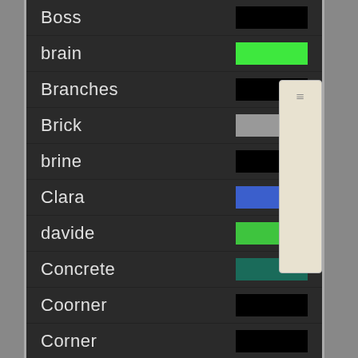Boss
brain
Branches
Brick
brine
Clara
davide
Concrete
Coorner
Corner
[Figure (screenshot): Scrollbar widget on right side of list panel]